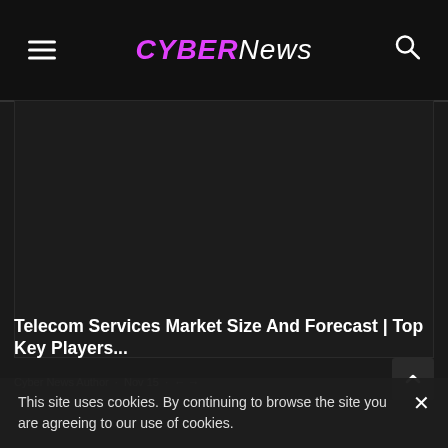CYBER News
[Figure (photo): Dark/black placeholder image area for article thumbnail]
Telecom Services Market Size And Forecast | Top Key Players...
Cyber News Author · Nov 15 · ← →
This site uses cookies. By continuing to browse the site you are agreeing to our use of cookies.